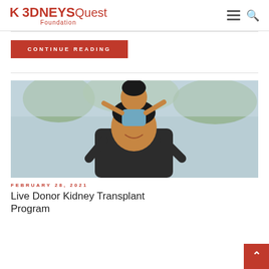KIDNEYSQuest Foundation
CONTINUE READING
[Figure (photo): A man smiling holding a child on his shoulders outdoors with trees in the background]
FEBRUARY 28, 2021
Live Donor Kidney Transplant Program